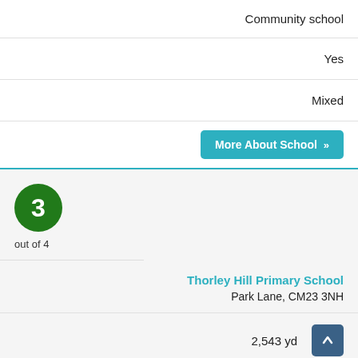Community school
Yes
Mixed
More About School »
[Figure (infographic): Green circle badge with number 3, labelled 'out of 4']
Thorley Hill Primary School
Park Lane, CM23 3NH
2,543 yd